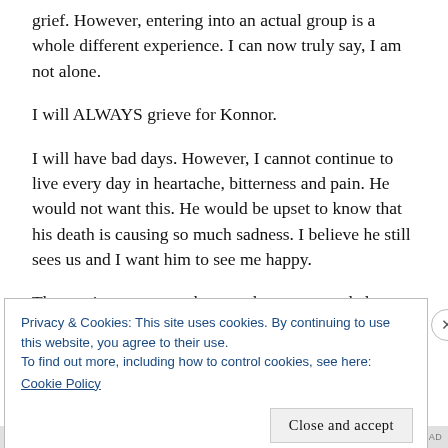grief. However, entering into an actual group is a whole different experience. I can now truly say, I am not alone.
I will ALWAYS grieve for Konnor.
I will have bad days. However, I cannot continue to live every day in heartache, bitterness and pain. He would not want this. He would be upset to know that his death is causing so much sadness. I believe he still sees us and I want him to see me happy.
These private spaces where we have mourned alone are reminders of our darkest times. Although we still
Privacy & Cookies: This site uses cookies. By continuing to use this website, you agree to their use.
To find out more, including how to control cookies, see here:
Cookie Policy
Close and accept